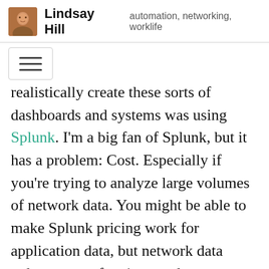Lindsay Hill   automation, networking, worklife
realistically create these sorts of dashboards and systems was using Splunk. I'm a big fan of Splunk, but it has a problem: Cost. Especially if you're trying to analyze large volumes of network data. You might be able to make Splunk pricing work for application data, but network data volumes are often just too large.
Savvius has previously included a Splunk forwarder, to make it easier to get data from their systems into Splunk. But Elastich...